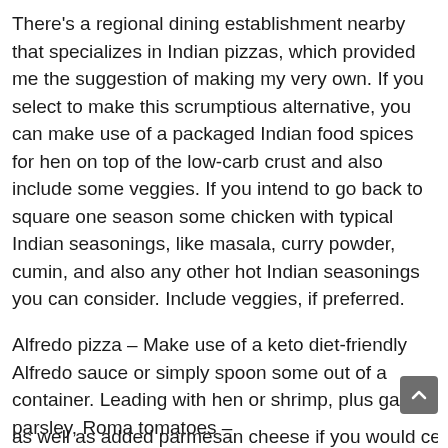There's a regional dining establishment nearby that specializes in Indian pizzas, which provided me the suggestion of making my very own. If you select to make this scrumptious alternative, you can make use of a packaged Indian food spices for hen on top of the low-carb crust and also include some veggies. If you intend to go back to square one season some chicken with typical Indian seasonings, like masala, curry powder, cumin, and also any other hot Indian seasonings you can consider. Include veggies, if preferred.
Alfredo pizza – Make use of a keto diet-friendly Alfredo sauce or simply spoon some out of a container. Leading with hen or shrimp, plus garlic, parsley, Roma tomatoes –
as well as added parmesan cheese if you would certainly li